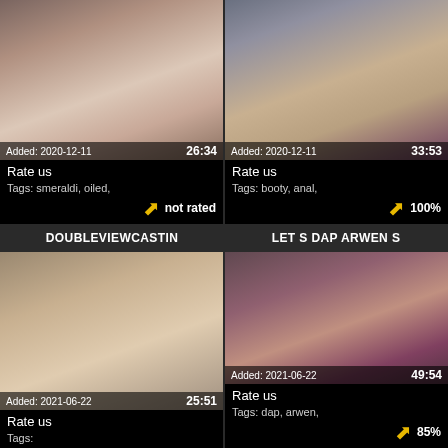[Figure (photo): Video thumbnail 1 - Added: 2020-12-11, duration 26:34, Rate us, Tags: smeraldi, oiled, not rated]
[Figure (photo): Video thumbnail 2 - Added: 2020-12-11, duration 33:53, Rate us, Tags: booty, anal, 100%]
DOUBLEVIEWCASTIN
LET S DAP ARWEN S
[Figure (photo): Video thumbnail 3 - Added: 2021-06-22, duration 25:51, Rate us, Tags:]
[Figure (photo): Video thumbnail 4 - Added: 2021-06-22, duration 49:54, Rate us, Tags: dap, arwen, 85%]